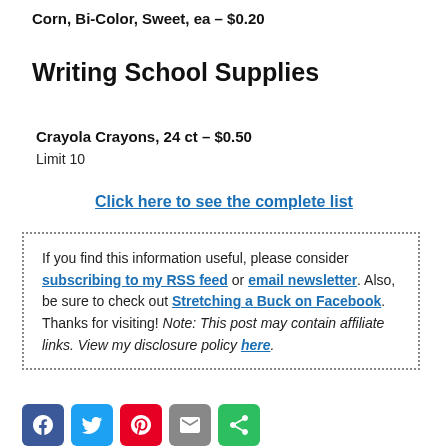Corn, Bi-Color, Sweet, ea – $0.20
Writing School Supplies
Crayola Crayons, 24 ct – $0.50
Limit 10
Click here to see the complete list
If you find this information useful, please consider subscribing to my RSS feed or email newsletter. Also, be sure to check out Stretching a Buck on Facebook. Thanks for visiting! Note: This post may contain affiliate links. View my disclosure policy here.
[Figure (other): Social media share buttons: Facebook, Twitter, Pinterest, Email, Share]